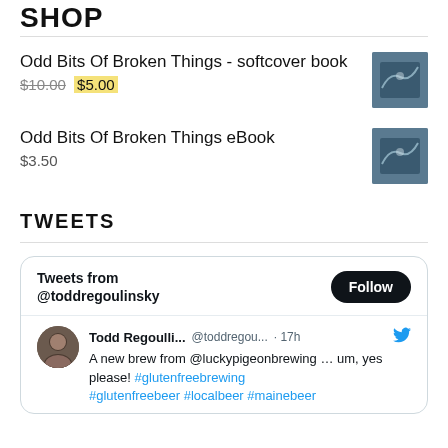SHOP
Odd Bits Of Broken Things - softcover book
$10.00 $5.00
Odd Bits Of Broken Things eBook
$3.50
TWEETS
Tweets from @toddregoulinsky
Todd Regoulli... @toddregou... · 17h
A new brew from @luckypigeonbrewing … um, yes please! #glutenfreebrewing #glutenfreebeer #localbeer #mainebeer